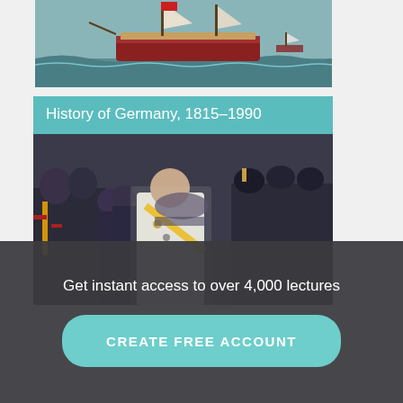[Figure (illustration): A sailing ship on stormy seas, partially cropped at top of page]
History of Germany, 1815–1990
[Figure (photo): Historical photo of military figures in uniform, including a central figure in white uniform with yellow sash, surrounded by officers in dark uniforms]
Get instant access to over 4,000 lectures
CREATE FREE ACCOUNT